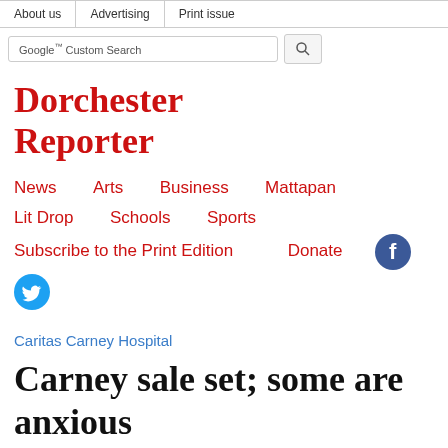About us | Advertising | Print issue
Dorchester Reporter
News   Arts   Business   Mattapan   Lit Drop   Schools   Sports   Subscribe to the Print Edition   Donate
Caritas Carney Hospital
Carney sale set; some are anxious